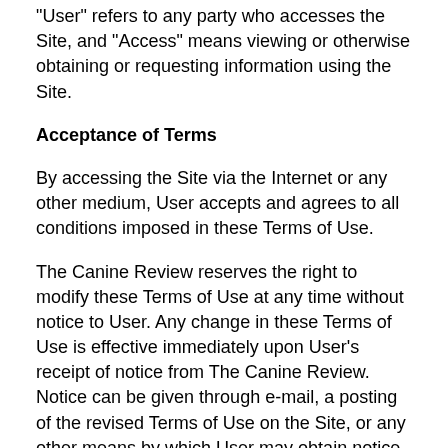"User" refers to any party who accesses the Site, and "Access" means viewing or otherwise obtaining or requesting information using the Site.
Acceptance of Terms
By accessing the Site via the Internet or any other medium, User accepts and agrees to all conditions imposed in these Terms of Use.
The Canine Review reserves the right to modify these Terms of Use at any time without notice to User. Any change in these Terms of Use is effective immediately upon User's receipt of notice from The Canine Review. Notice can be given through e-mail, a posting of the revised Terms of Use on the Site, or any other means by which User may obtain notice. Users should periodically check these Terms of Use for changes. Any use of the Site after changes have been made shall be deemed acceptance of those changed Terms of Use.
The Canine Review has the exclusive right to control the accessibility, hours of use, and the features on the Site. The